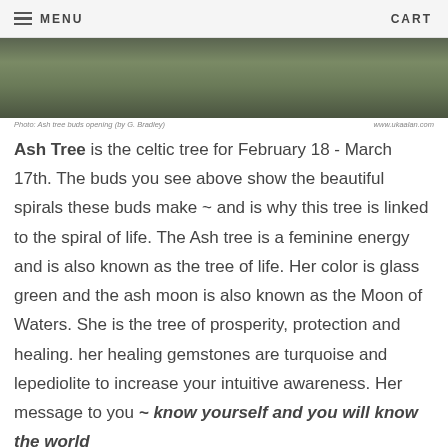MENU   CART
[Figure (photo): Ash tree buds opening photo (partially visible at top), dark green and brown tones]
Photo: Ash tree buds opening (by G. Bradley)   www.ukaalan.com
Ash Tree is the celtic tree for February 18 - March 17th. The buds you see above show the beautiful spirals these buds make ~ and is why this tree is linked to the spiral of life. The Ash tree is a feminine energy and is also known as the tree of life. Her color is glass green and the ash moon is also known as the Moon of Waters. She is the tree of prosperity, protection and healing. her healing gemstones are turquoise and lepediolite to increase your intuitive awareness. Her message to you ~ know yourself and you will know the world